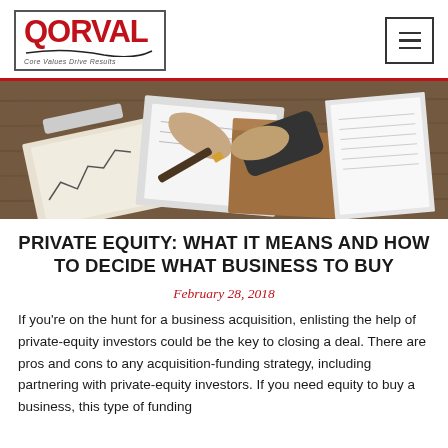QORVAL — Core Values Drive Results
[Figure (photo): Overhead view of two people shaking hands over a wooden desk covered with financial documents, charts, clipboards, folders, and papers.]
PRIVATE EQUITY: WHAT IT MEANS AND HOW TO DECIDE WHAT BUSINESS TO BUY
February 28, 2018
If you're on the hunt for a business acquisition, enlisting the help of private-equity investors could be the key to closing a deal. There are pros and cons to any acquisition-funding strategy, including partnering with private-equity investors. If you need equity to buy a business, this type of funding